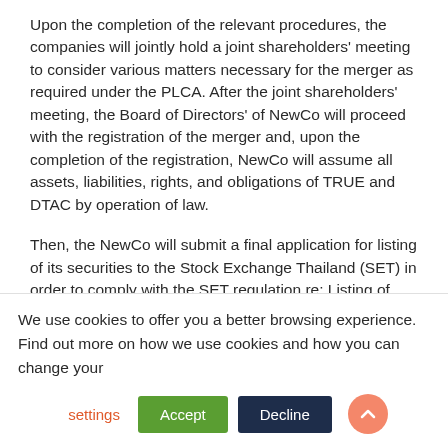Upon the completion of the relevant procedures, the companies will jointly hold a joint shareholders' meeting to consider various matters necessary for the merger as required under the PLCA. After the joint shareholders' meeting, the Board of Directors' of NewCo will proceed with the registration of the merger and, upon the completion of the registration, NewCo will assume all assets, liabilities, rights, and obligations of TRUE and DTAC by operation of law.
Then, the NewCo will submit a final application for listing of its securities to the Stock Exchange Thailand (SET) in order to comply with the SET regulation re: Listing of Securities of the Company Formed by Amalgamation of Companies B.E. 2542 (1999).
TRUE and DTAC expect the merger to be completed by September 2022.
We use cookies to offer you a better browsing experience. Find out more on how we use cookies and how you can change your